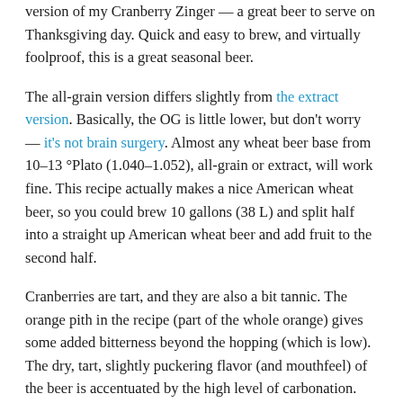version of my Cranberry Zinger — a great beer to serve on Thanksgiving day. Quick and easy to brew, and virtually foolproof, this is a great seasonal beer.
The all-grain version differs slightly from the extract version. Basically, the OG is little lower, but don't worry — it's not brain surgery. Almost any wheat beer base from 10–13 °Plato (1.040–1.052), all-grain or extract, will work fine. This recipe actually makes a nice American wheat beer, so you could brew 10 gallons (38 L) and split half into a straight up American wheat beer and add fruit to the second half.
Cranberries are tart, and they are also a bit tannic. The orange pith in the recipe (part of the whole orange) gives some added bitterness beyond the hopping (which is low). The dry, tart, slightly puckering flavor (and mouthfeel) of the beer is accentuated by the high level of carbonation.
This beer ferments quickly (3–4 days) and, after the beer has contacted the fruit for about a week, you can keg it and it will be ready to go. If you keg your beer, you can brew the base this weekend and have it ready for Thanksgiving.